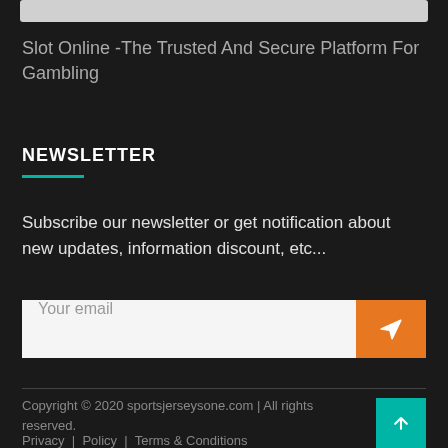[Figure (other): Gray bar at top of page, likely a search or navigation bar from a website]
Slot Online -The Trusted And Secure Platform For Gambling
NEWSLETTER
Subscribe our newsletter or get notification about new updates, information discount, etc...
Your email
Copyright © 2020 sportsjerseysone.com | All rights reserved.
Privacy | Policy | Terms & Conditions